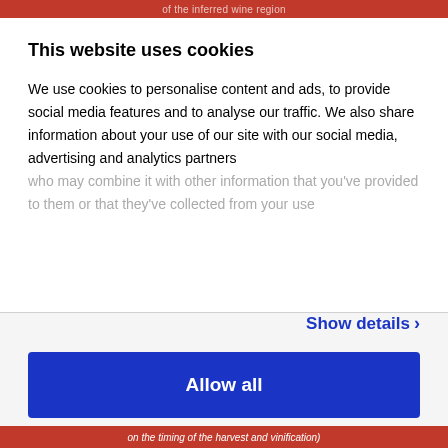of the inferred wine region
This website uses cookies
We use cookies to personalise content and ads, to provide social media features and to analyse our traffic. We also share information about your use of our site with our social media, advertising and analytics partners who may combine it with other information that you've provided to them or that they've collected from your use
Show details ›
Allow all
Customize ›
on the timing of the harvest and vinification)